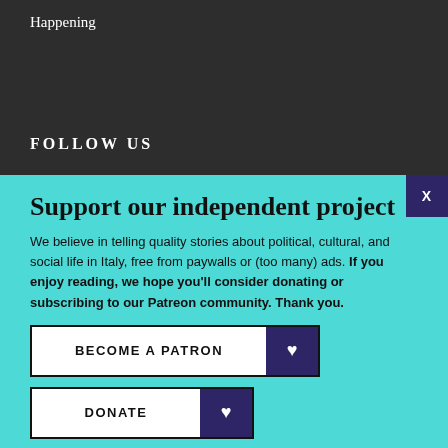Happening
FOLLOW US
Support our independent project
We believe in telling quality stories about political, cultural, and social life in Italy, free from paywalls or (too many) ads. If you enjoy reading, we hope you'll consider donating or subscribing to our Patreon community. Thank you.
BECOME A PATRON
DONATE
Follow us: Facebook Instagram Twitter